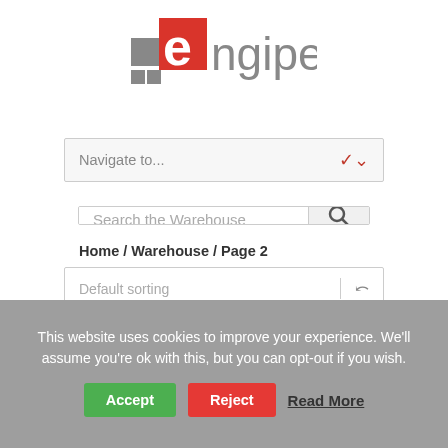[Figure (logo): Engipedia logo with grey squares and red square icon on left, 'engipedia' text in grey on right]
Navigate to...
Search the Warehouse
Home / Warehouse / Page 2
Default sorting
This website uses cookies to improve your experience. We'll assume you're ok with this, but you can opt-out if you wish.
Accept
Reject
Read More